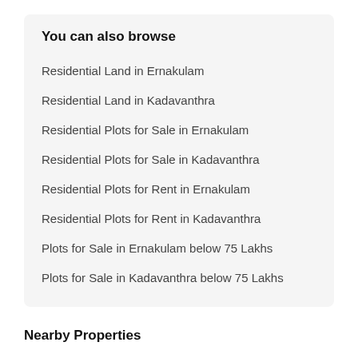You can also browse
Residential Land in Ernakulam
Residential Land in Kadavanthra
Residential Plots for Sale in Ernakulam
Residential Plots for Sale in Kadavanthra
Residential Plots for Rent in Ernakulam
Residential Plots for Rent in Kadavanthra
Plots for Sale in Ernakulam below 75 Lakhs
Plots for Sale in Kadavanthra below 75 Lakhs
Nearby Properties